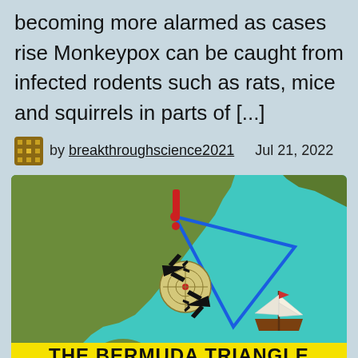becoming more alarmed as cases rise Monkeypox can be caught from infected rodents such as rats, mice and squirrels in parts of [...]
by breakthroughscience2021    Jul 21, 2022
[Figure (illustration): Bermuda Triangle illustration showing a map with North America in olive green, Caribbean sea in cyan/turquoise, a blue inverted triangle outline, a radar dish icon, two black airplane silhouettes, a red exclamation mark, and a sailing ship illustration. Yellow banner at bottom reads THE BERMUDA TRIANGLE.]